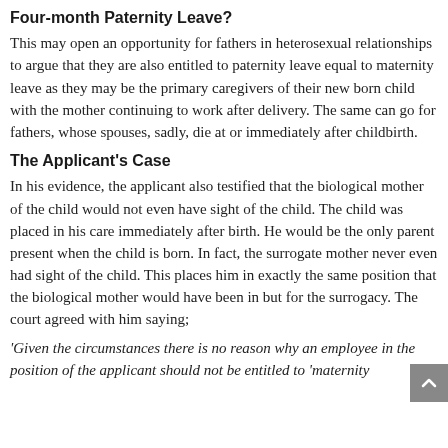Four-month Paternity Leave?
This may open an opportunity for fathers in heterosexual relationships to argue that they are also entitled to paternity leave equal to maternity leave as they may be the primary caregivers of their new born child with the mother continuing to work after delivery. The same can go for fathers, whose spouses, sadly, die at or immediately after childbirth.
The Applicant's Case
In his evidence, the applicant also testified that the biological mother of the child would not even have sight of the child. The child was placed in his care immediately after birth. He would be the only parent present when the child is born. In fact, the surrogate mother never even had sight of the child. This places him in exactly the same position that the biological mother would have been in but for the surrogacy. The court agreed with him saying;
'Given the circumstances there is no reason why an employee in the position of the applicant should not be entitled to 'maternity